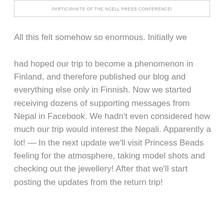PARTICIPANTS OF THE NCELL PRESS CONFERENCE!
All this felt somehow so enormous. Initially we had hoped our trip to become a phenomenon in Finland, and therefore published our blog and everything else only in Finnish. Now we started receiving dozens of supporting messages from Nepal in Facebook. We hadn't even considered how much our trip would interest the Nepali. Apparently a lot! — In the next update we'll visit Princess Beads feeling for the atmosphere, taking model shots and checking out the jewellery! After that we'll start posting the updates from the return trip!